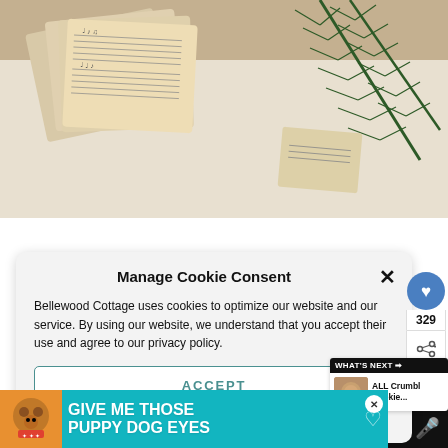[Figure (photo): Overhead photo of sheet music notebooks with pine/fir branches on white background]
Manage Cookie Consent
Bellewood Cottage uses cookies to optimize our website and our service. By using our website, we understand that you accept their use and agree to our privacy policy.
ACCEPT
Privacy Policy   Privacy Policy
[Figure (photo): Open sheet music books with musical notation, aged/vintage look]
[Figure (infographic): Ad banner: GIVE ME THOSE PUPPY DOG EYES with teal background and dog photo]
WHAT'S NEXT → ALL Crumbl Cookie...
329